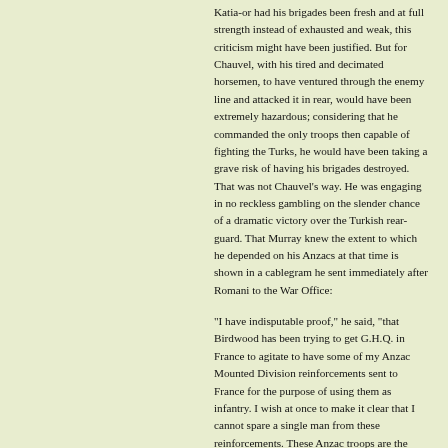Katia-or had his brigades been fresh and at full strength instead of exhausted and weak, this criticism might have been justified. But for Chauvel, with his tired and decimated horsemen, to have ventured through the enemy line and attacked it in rear, would have been extremely hazardous; considering that he commanded the only troops then capable of fighting the Turks, he would have been taking a grave risk of having his brigades destroyed. That was not Chauvel's way. He was engaging in no reckless gambling on the slender chance of a dramatic victory over the Turkish rear-guard. That Murray knew the extent to which he depended on his Anzacs at that time is shown in a cablegram he sent immediately after Romani to the War Office:
"I have indisputable proof," he said, "that Birdwood has been trying to get G.H.Q. in France to agitate to have some of my Anzac Mounted Division reinforcements sent to France for the purpose of using them as infantry. I wish at once to make it clear that I cannot spare a single man from these reinforcements. These Anzac troops are the keystone of the defence of Egypt, and I am at this moment arranging to form all reinforcements into camel corps. I know I can rely on your help in this matter, which is of